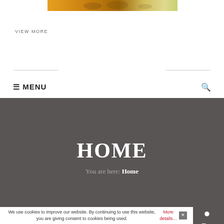[Figure (photo): Decorative banner image with warm orange/yellow tones, partially visible]
VIEW MORE
☰ MENU
HOME
You are here: Home
We use cookies to improve our website. By continuing to use this website, you are giving consent to cookies being used. More details… ✕